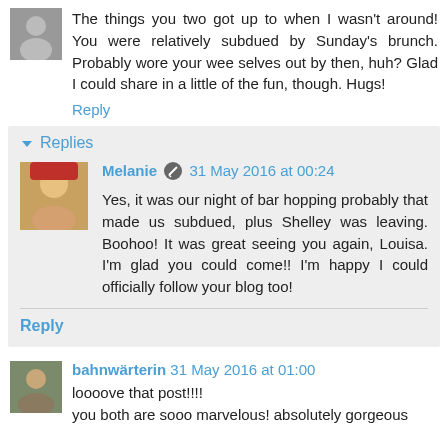The things you two got up to when I wasn't around! You were relatively subdued by Sunday's brunch. Probably wore your wee selves out by then, huh? Glad I could share in a little of the fun, though. Hugs!
Reply
Replies
Melanie  31 May 2016 at 00:24
Yes, it was our night of bar hopping probably that made us subdued, plus Shelley was leaving. Boohoo! It was great seeing you again, Louisa. I'm glad you could come!! I'm happy I could officially follow your blog too!
Reply
bahnwärterin  31 May 2016 at 01:00
loooove that post!!!!
you both are sooo marvelous! absolutely gorgeous